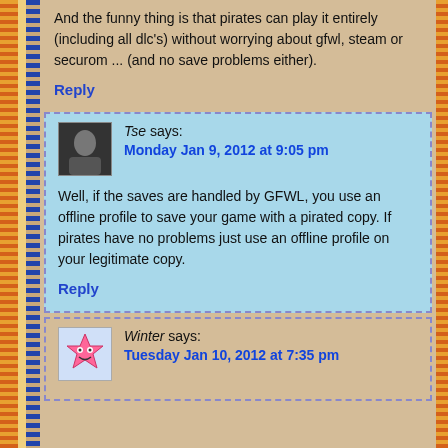And the funny thing is that pirates can play it entirely (including all dlc's) without worrying about gfwl, steam or securom ... (and no save problems either).
Reply
Tse says:
Monday Jan 9, 2012 at 9:05 pm
Well, if the saves are handled by GFWL, you use an offline profile to save your game with a pirated copy. If pirates have no problems just use an offline profile on your legitimate copy.
Reply
Winter says:
Tuesday Jan 10, 2012 at 7:35 pm